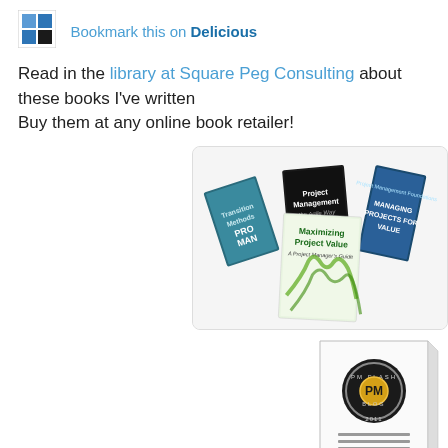[Figure (logo): Delicious bookmark icon — two blue squares forming a diagonal pattern, with a smaller dark square]
Bookmark this on Delicious
Read in the library at Square Peg Consulting about these books I've written
Buy them at any online book retailer!
[Figure (photo): Collection of project management books fanned out: Maximizing Project Value, Project Management the Agile Way, Managing Projects for Value, and others]
[Figure (photo): PM Flash Blog 2011 book/spiral-bound publication with circular PM badge on cover and text lines below]